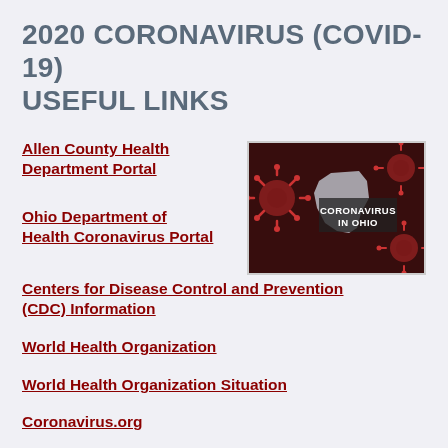2020 CORONAVIRUS (COVID-19) USEFUL LINKS
Allen County Health Department Portal
[Figure (photo): Coronavirus in Ohio graphic showing Ohio state outline with coronavirus particles on dark red background, with text 'CORONAVIRUS IN OHIO']
Ohio Department of Health Coronavirus Portal
Centers for Disease Control and Prevention (CDC) Information
World Health Organization
World Health Organization Situation
Coronavirus.org